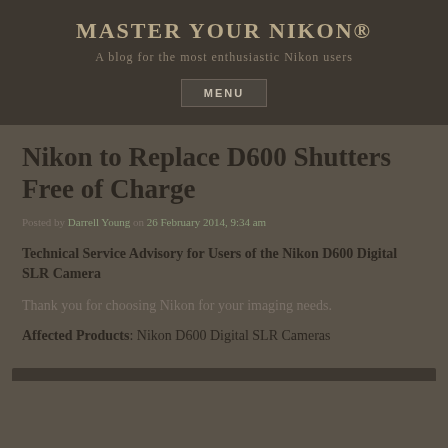MASTER YOUR NIKON®
A blog for the most enthusiastic Nikon users
MENU
Nikon to Replace D600 Shutters Free of Charge
Posted by Darrell Young on 26 February 2014, 9:34 am
Technical Service Advisory for Users of the Nikon D600 Digital SLR Camera
Thank you for choosing Nikon for your imaging needs.
Affected Products: Nikon D600 Digital SLR Cameras